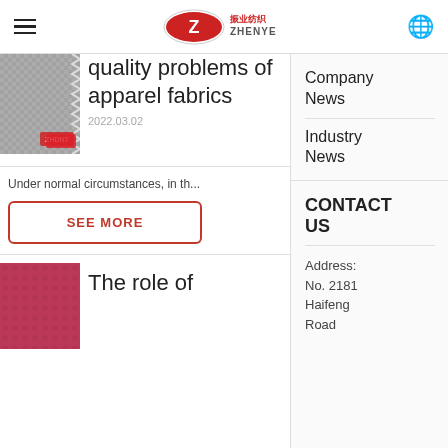ZHENYE 振业纺织
quality problems of apparel fabrics
2022.03.02
Under normal circumstances, in th...
SEE MORE
The role of
Company News
Industry News
CONTACT US
Address: No. 2181 Haifeng Road